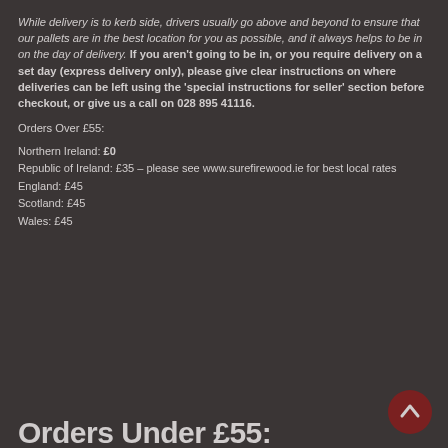While delivery is to kerb side, drivers usually go above and beyond to ensure that our pallets are in the best location for you as possible, and it always helps to be in on the day of delivery. If you aren't going to be in, or you require delivery on a set day (express delivery only), please give clear instructions on where deliveries can be left using the 'special instructions for seller' section before checkout, or give us a call on 028 895 41116.
Orders Over £55:
Northern Ireland: £0
Republic of Ireland: £35 – please see www.surefirewood.ie for best local rates
England: £45
Scotland: £45
Wales: £45
Orders Under £55: